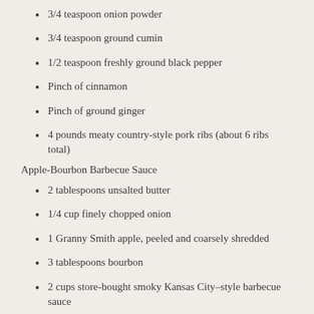3/4 teaspoon onion powder
3/4 teaspoon ground cumin
1/2 teaspoon freshly ground black pepper
Pinch of cinnamon
Pinch of ground ginger
4 pounds meaty country-style pork ribs (about 6 ribs total)
Apple-Bourbon Barbecue Sauce
2 tablespoons unsalted butter
1/4 cup finely chopped onion
1 Granny Smith apple, peeled and coarsely shredded
3 tablespoons bourbon
2 cups store-bought smoky Kansas City–style barbecue sauce